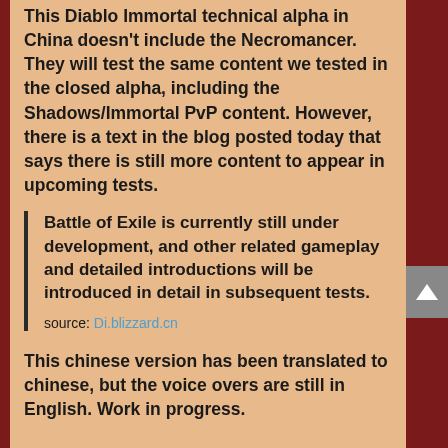This Diablo Immortal technical alpha in China doesn't include the Necromancer. They will test the same content we tested in the closed alpha, including the Shadows/Immortal PvP content. However, there is a text in the blog posted today that says there is still more content to appear in upcoming tests.
Battle of Exile is currently still under development, and other related gameplay and detailed introductions will be introduced in detail in subsequent tests.
source: Di.blizzard.cn
This chinese version has been translated to chinese, but the voice overs are still in English. Work in progress.